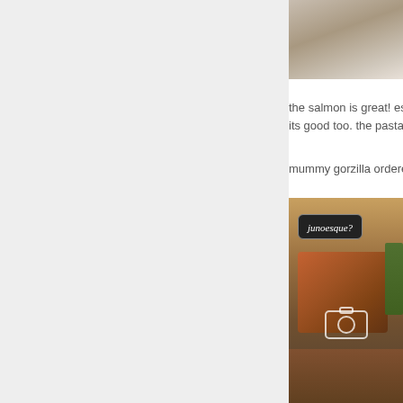[Figure (photo): Top portion of a food photo partially visible, showing what appears to be a light-colored dish or table surface]
the salmon is great! es its good too. the pasta i
mummy gorzilla ordere
[Figure (photo): Food photo showing a dish that appears to be salmon or fish in broth/sauce with vegetables, overlaid with a 'junoesque?' watermark label and a camera icon]